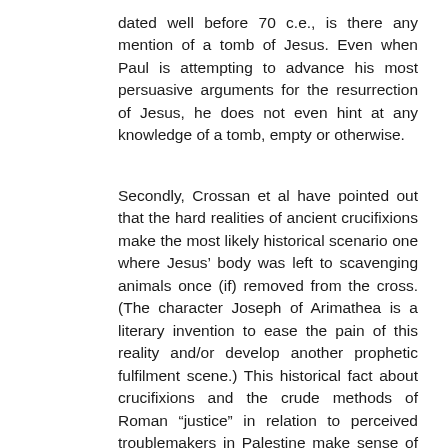dated well before 70 c.e., is there any mention of a tomb of Jesus. Even when Paul is attempting to advance his most persuasive arguments for the resurrection of Jesus, he does not even hint at any knowledge of a tomb, empty or otherwise.
Secondly, Crossan et al have pointed out that the hard realities of ancient crucifixions make the most likely historical scenario one where Jesus' body was left to scavenging animals once (if) removed from the cross. (The character Joseph of Arimathea is a literary invention to ease the pain of this reality and/or develop another prophetic fulfilment scene.) This historical fact about crucifixions and the crude methods of Roman “justice” in relation to perceived troublemakers in Palestine make sense of Paul’s silence over a tomb.